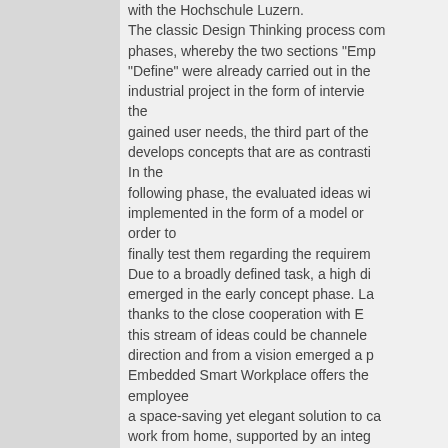with the Hochschule Luzern. The classic Design Thinking process com phases, whereby the two sections "Emp "Define" were already carried out in the industrial project in the form of intervie the gained user needs, the third part of the develops concepts that are as contrasti In the following phase, the evaluated ideas wi implemented in the form of a model or order to finally test them regarding the requirem Due to a broadly defined task, a high di emerged in the early concept phase. La thanks to the close cooperation with E this stream of ideas could be channele direction and from a vision emerged a p Embedded Smart Workplace offers the employee a space-saving yet elegant solution to ca work from home, supported by an integ and with storage space for the required per unfolded, the table not only enlarges t